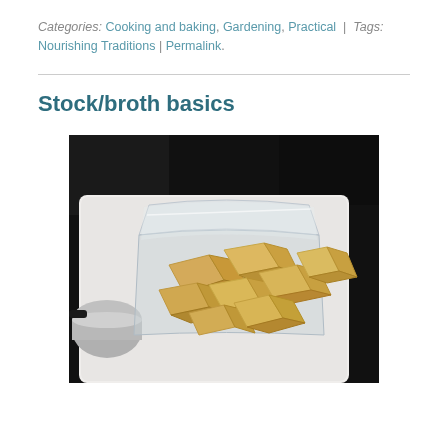Categories: Cooking and baking, Gardening, Practical | Tags: Nourishing Traditions | Permalink.
Stock/broth basics
[Figure (photo): Frozen broth/stock cubes in a clear plastic bag inside a white plastic container, with a metal pot visible in the lower left.]